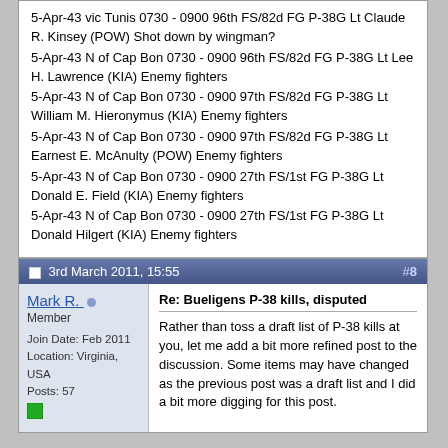5-Apr-43 vic Tunis 0730 - 0900 96th FS/82d FG P-38G Lt Claude R. Kinsey (POW) Shot down by wingman?
5-Apr-43 N of Cap Bon 0730 - 0900 96th FS/82d FG P-38G Lt Lee H. Lawrence (KIA) Enemy fighters
5-Apr-43 N of Cap Bon 0730 - 0900 97th FS/82d FG P-38G Lt William M. Hieronymus (KIA) Enemy fighters
5-Apr-43 N of Cap Bon 0730 - 0900 97th FS/82d FG P-38G Lt Earnest E. McAnulty (POW) Enemy fighters
5-Apr-43 N of Cap Bon 0730 - 0900 27th FS/1st FG P-38G Lt Donald E. Field (KIA) Enemy fighters
5-Apr-43 N of Cap Bon 0730 - 0900 27th FS/1st FG P-38G Lt Donald Hilgert (KIA) Enemy fighters
Last edited by Mark R.; 1st March 2011 at 16:04.
3rd March 2011, 15:55  #8
Mark R.  Member  Join Date: Feb 2011  Location: Virginia, USA  Posts: 57
Re: Bueligens P-38 kills, disputed
Rather than toss a draft list of P-38 kills at you, let me add a bit more refined post to the discussion. Some items may have changed as the previous post was a draft list and I did a bit more digging for this post.